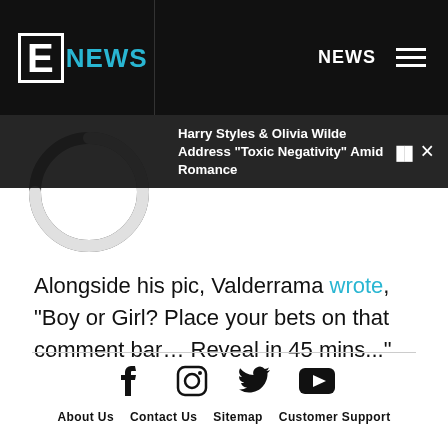E! NEWS | NEWS
[Figure (screenshot): Loading spinner circle partially filled, white on dark background]
Harry Styles & Olivia Wilde Address "Toxic Negativity" Amid Romance
Alongside his pic, Valderrama wrote, "Boy or Girl? Place your bets on that comment bar… Reveal in 45 mins..."
About Us  Contact Us  Sitemap  Customer Support